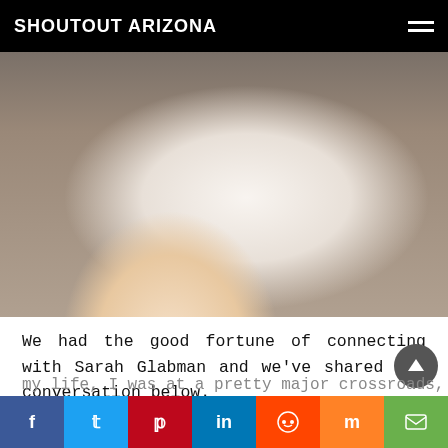SHOUTOUT ARIZONA
[Figure (photo): Cropped photo of a person wearing a white shirt, with arms crossed, against a blurred dark background.]
We had the good fortune of connecting with Sarah Glabman and we've shared our conversation below.
Hi Sarah, what role has risk played in your life or career?
My Mother gave me a tile with a hangy-ribbon thing on it about 20 years ago. At that time in my life, I was at a pretty major crossroads, and didn't know what to do. Honestly, this tile was
f  t  p  in  reddit  mix  email (social share buttons)